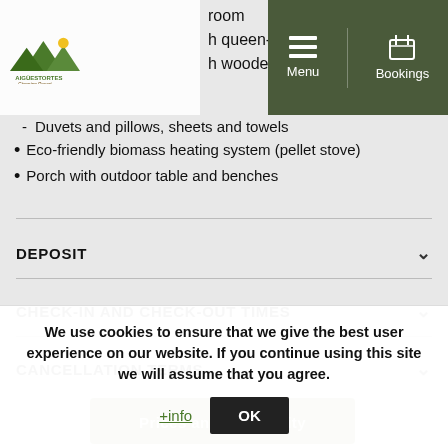Aigüestortes Càmping Resort – Menu | Bookings
room
h queen-size bed
h wooden bunk
- Duvets and pillows, sheets and towels
• Eco-friendly biomass heating system (pellet stove)
• Porch with outdoor table and benches
DEPOSIT
CHECK-IN AND CHECK-OUT TIMES
CANCELLATION TERMS
Prices and availability
We use cookies to ensure that we give the best user experience on our website. If you continue using this site we will assume that you agree.
+info  OK